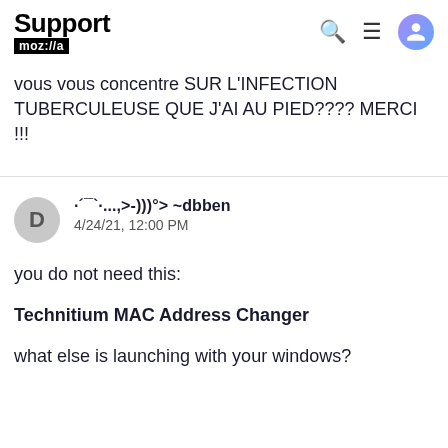Support moz://a
vous vous concentre SUR L'INFECTION TUBERCULEUSE QUE J'AI AU PIED???? MERCI !!!
·´¯`·...,>-)))°> ~dbben
4/24/21, 12:00 PM
you do not need this:
Technitium MAC Address Changer
what else is launching with your windows?